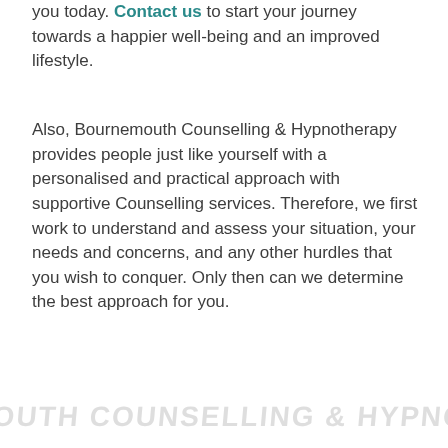you today. Contact us to start your journey towards a happier well-being and an improved lifestyle.
Also, Bournemouth Counselling & Hypnotherapy provides people just like yourself with a personalised and practical approach with supportive Counselling services. Therefore, we first work to understand and assess your situation, your needs and concerns, and any other hurdles that you wish to conquer. Only then can we determine the best approach for you.
[Figure (other): Faint watermark text at the bottom of the page, partially visible, appearing to be a logo or branding text in light grey.]